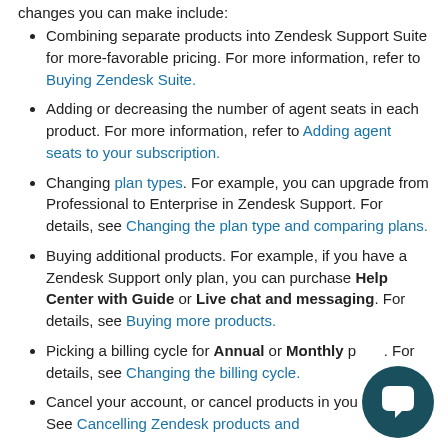changes you can make include:
Combining separate products into Zendesk Support Suite for more-favorable pricing. For more information, refer to Buying Zendesk Suite.
Adding or decreasing the number of agent seats in each product. For more information, refer to Adding agent seats to your subscription.
Changing plan types. For example, you can upgrade from Professional to Enterprise in Zendesk Support. For details, see Changing the plan type and comparing plans.
Buying additional products. For example, if you have a Zendesk Support only plan, you can purchase Help Center with Guide or Live chat and messaging. For details, see Buying more products.
Picking a billing cycle for Annual or Monthly plans. For details, see Changing the billing cycle.
Cancel your account, or cancel products in your account. See Cancelling Zendesk products and
[Figure (other): Chat bubble icon - dark teal circular button with speech bubble icon]